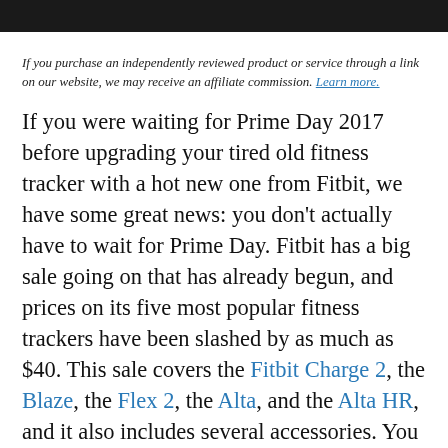If you purchase an independently reviewed product or service through a link on our website, we may receive an affiliate commission. Learn more.
If you were waiting for Prime Day 2017 before upgrading your tired old fitness tracker with a hot new one from Fitbit, we have some great news: you don't actually have to wait for Prime Day. Fitbit has a big sale going on that has already begun, and prices on its five most popular fitness trackers have been slashed by as much as $40. This sale covers the Fitbit Charge 2, the Blaze, the Flex 2, the Alta, and the Alta HR, and it also includes several accessories. You can